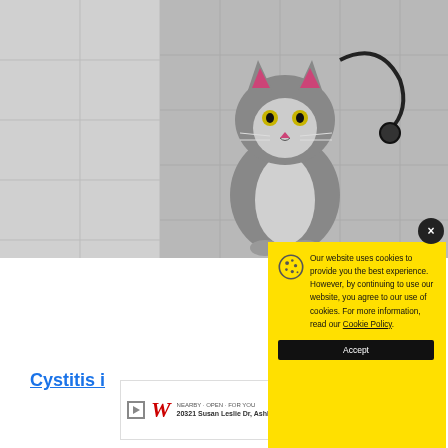[Figure (photo): A small grey tabby kitten sitting on a veterinary examination table with white tile background and medical equipment visible]
Cystitis i
[Figure (screenshot): Cookie consent modal popup with yellow background. Contains cookie icon, text: 'Our website uses cookies to provide you the best experience. However, by continuing to use our website, you agree to our use of cookies. For more information, read our Cookie Policy.' and an Accept button. A dark close (x) button is in the top right corner.]
Our website uses cookies to provide you the best experience. However, by continuing to use our website, you agree to our use of cookies. For more information, read our Cookie Policy.
Accept
Cop
[Figure (infographic): Walgreens advertisement banner showing logo and address: 20321 Susan Leslie Dr, Ashburn]